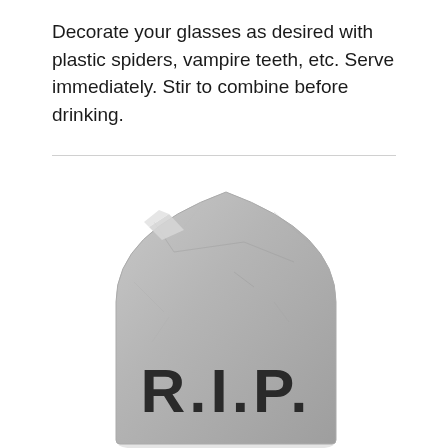Decorate your glasses as desired with plastic spiders, vampire teeth, etc. Serve immediately. Stir to combine before drinking.
[Figure (photo): A grayscale photo of a tombstone/gravestone with the letters R.I.P. inscribed on it, with a rounded top and stone texture, partially cropped at bottom of page.]